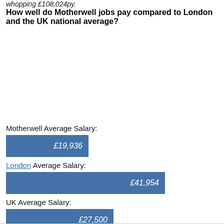whopping £108,024py.
How well do Motherwell jobs pay compared to London and the UK national average?
[Figure (bar-chart): Salary Comparison]